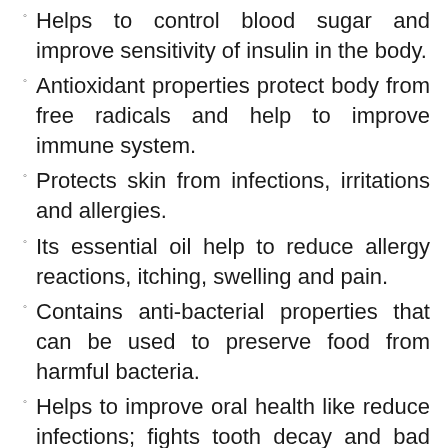Helps to control blood sugar and improve sensitivity of insulin in the body.
Antioxidant properties protect body from free radicals and help to improve immune system.
Protects skin from infections, irritations and allergies.
Its essential oil help to reduce allergy reactions, itching, swelling and pain.
Contains anti-bacterial properties that can be used to preserve food from harmful bacteria.
Helps to improve oral health like reduce infections; fights tooth decay and bad breath.
Boosts metabolism that help to burn more calories as a result you can lose weight faster.